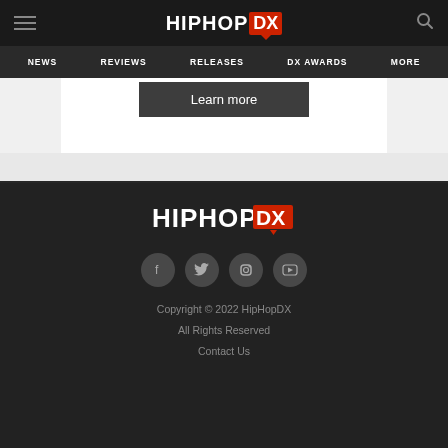HIPHOP DX
NEWS | REVIEWS | RELEASES | DX AWARDS | MORE
Learn more
[Figure (logo): HipHopDX logo in footer — white bold HIPHOP text with red DX badge]
[Figure (illustration): Four social media icon circles: Facebook, Twitter, Instagram, YouTube]
Copyright © 2022 HipHopDX
All Rights Reserved
Contact Us